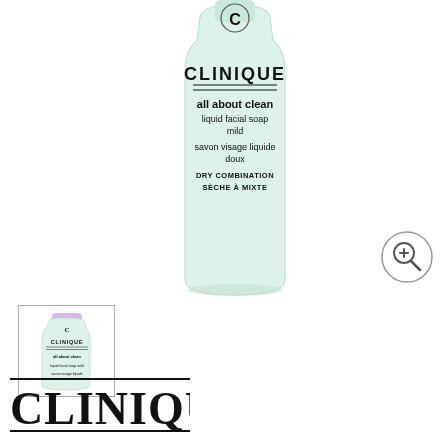[Figure (photo): Clinique All About Clean Liquid Facial Soap Mild bottle in light mint green color. Label shows CLINIQUE branding, product name 'all about clean liquid facial soap mild', French text 'savon visage liquide doux', and 'DRY COMBINATION / SÈCHE À MIXTE'.]
[Figure (photo): Small thumbnail image of the same Clinique All About Clean product but with a lavender/purple cap, shown as alternate product view.]
[Figure (logo): CLINIQUE brand logo in large bold black serif font at the bottom left of the page.]